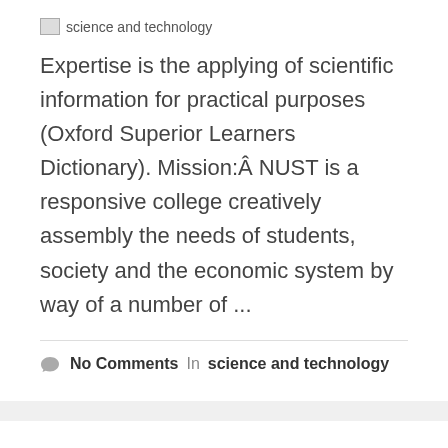[Figure (other): Broken image placeholder labeled 'science and technology']
Expertise is the applying of scientific information for practical purposes (Oxford Superior Learners Dictionary). Mission:Â NUST is a responsive college creatively assembly the needs of students, society and the economic system by way of a number of ...
No Comments  In  science and technology
Sherry
August 11, 2019